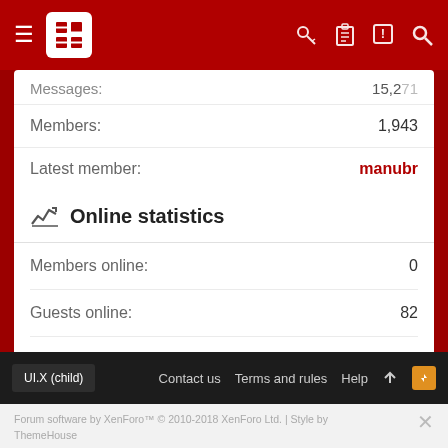Navigation bar with hamburger menu, logo, and icons
Messages: [partial] | Members: 1,943 | Latest member: manubr
Online statistics
Members online: 0
Guests online: 82
Total visitors: 82
Totals may include hidden visitors.
UI.X (child)   Contact us   Terms and rules   Help
Forum software by XenForo™ © 2010-2018 XenForo Ltd. | Style by ThemeHouse